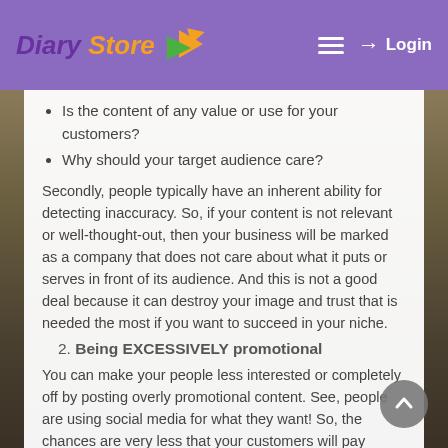Diary Store — Login
Is the content of any value or use for your customers?
Why should your target audience care?
Secondly, people typically have an inherent ability for detecting inaccuracy. So, if your content is not relevant or well-thought-out, then your business will be marked as a company that does not care about what it puts or serves in front of its audience. And this is not a good deal because it can destroy your image and trust that is needed the most if you want to succeed in your niche.
2. Being EXCESSIVELY promotional
You can make your people less interested or completely off by posting overly promotional content. See, people are using social media for what they want! So, the chances are very less that your customers will pay attention to what YOU WANT! You